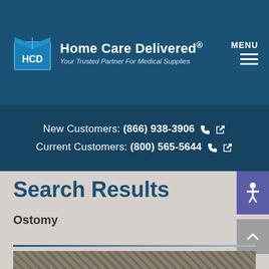Home Care Delivered® — Your Trusted Partner For Medical Supplies
New Customers: (866) 938-3906
Current Customers: (800) 565-5644
Search Results
Ostomy
[Figure (photo): Partial bottom image strip, content partially visible]